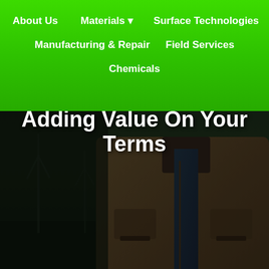About Us | Materials | Surface Technologies | Manufacturing & Repair | Field Services | Chemicals
[Figure (photo): Dark background photo of a person in a brown work jacket with wind turbines in the background at dusk]
Adding Value On Your Terms